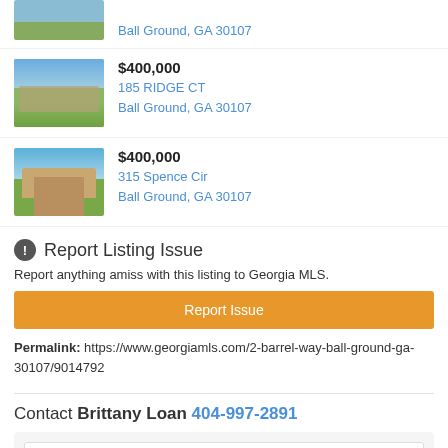[Figure (photo): Partial listing photo of a house - top of page (cropped)]
Ball Ground, GA 30107
[Figure (photo): House photo - 185 Ridge CT listing]
$400,000
185 RIDGE CT
Ball Ground, GA 30107
[Figure (photo): House photo - 315 Spence Cir listing]
$400,000
315 Spence Cir
Ball Ground, GA 30107
Report Listing Issue
Report anything amiss with this listing to Georgia MLS.
Report Issue
Permalink: https://www.georgiamls.com/2-barrel-way-ball-ground-ga-30107/9014792
Contact Brittany Loan 404-997-2891
Your Full Name